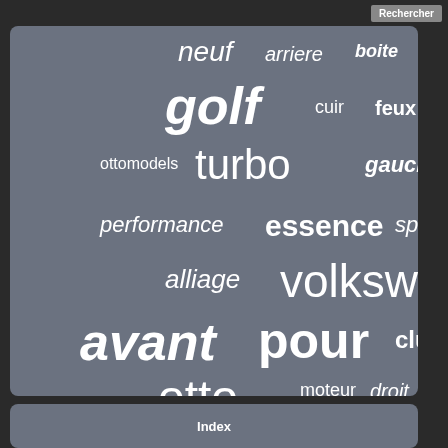[Figure (infographic): Word cloud on a grey background containing French automotive-related terms in various sizes and weights including: neuf, arriere, boite, avec, pouces, golf, cuir, feux, ottomobile, turbo, gauche, original, ottomodels, performance, essence, sport, noir, audi, alliage, volkswagen, avant, pour, clubsport, review, otto, moteur, droit, r-line, rouge, volant, frein, jantes, pare-chocs, passat, arrière]
Index